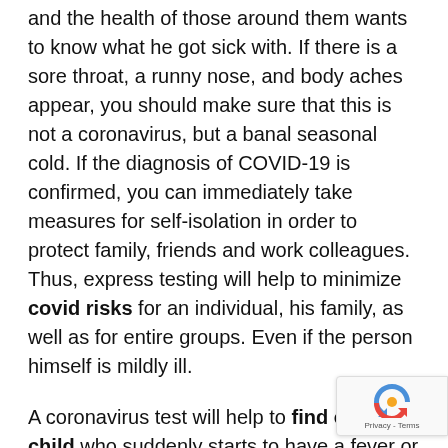and the health of those around them wants to know what he got sick with. If there is a sore throat, a runny nose, and body aches appear, you should make sure that this is not a coronavirus, but a banal seasonal cold. If the diagnosis of COVID-19 is confirmed, you can immediately take measures for self-isolation in order to protect family, friends and work colleagues. Thus, express testing will help to minimize covid risks for an individual, his family, as well as for entire groups. Even if the person himself is mildly ill.
A coronavirus test will help to find out if a child who suddenly starts to have a fever or cough has become infected . The omicron variant, which already been officially registered in Russia, has